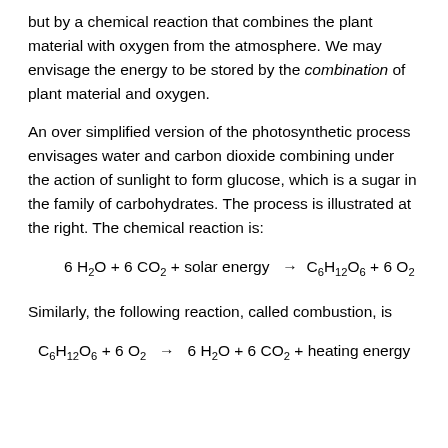but by a chemical reaction that combines the plant material with oxygen from the atmosphere. We may envisage the energy to be stored by the combination of plant material and oxygen.
An over simplified version of the photosynthetic process envisages water and carbon dioxide combining under the action of sunlight to form glucose, which is a sugar in the family of carbohydrates. The process is illustrated at the right. The chemical reaction is:
Similarly, the following reaction, called combustion, is